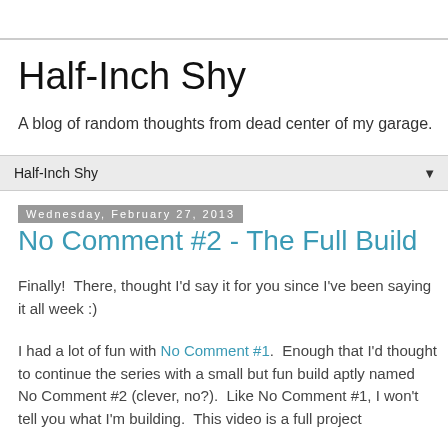Half-Inch Shy
A blog of random thoughts from dead center of my garage.
Half-Inch Shy ▼
Wednesday, February 27, 2013
No Comment #2 - The Full Build
Finally!  There, thought I'd say it for you since I've been saying it all week :)
I had a lot of fun with No Comment #1.  Enough that I'd thought to continue the series with a small but fun build aptly named No Comment #2 (clever, no?).  Like No Comment #1, I won't tell you what I'm building.  This video is a full project